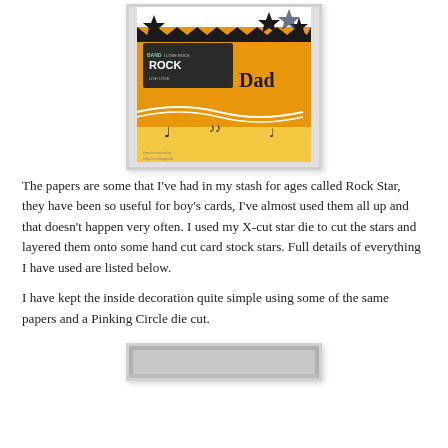[Figure (photo): A handmade greeting card with rock star theme, featuring orange patterned paper, black star shapes, musical notes, and the word 'Dad' in bold lettering. The card has a zigzag black border at the top and includes stickers with text like 'ROCK' and 'BAND'.]
The papers are some that I've had in my stash for ages called Rock Star, they have been so useful for boy's cards, I've almost used them all up and that doesn't happen very often.  I used my X-cut star die to cut the stars and layered them onto some hand cut card stock stars.  Full details of everything I have used are listed below.
I have kept the inside decoration quite simple using some of the same papers and a Pinking Circle die cut.
[Figure (photo): Partial view of another handmade card, showing the bottom edge with a grey/silver patterned background, partially visible at the bottom of the page.]